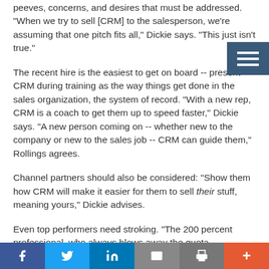peeves, concerns, and desires that must be addressed. "When we try to sell [CRM] to the salesperson, we're assuming that one pitch fits all," Dickie says. "This just isn't true."
The recent hire is the easiest to get on board -- present CRM during training as the way things get done in the sales organization, the system of record. "With a new rep, CRM is a coach to get them up to speed faster," Dickie says. "A new person coming on -- whether new to the company or new to the sales job -- CRM can guide them," Rollings agrees.
Channel partners should also be considered: "Show them how CRM will make it easier for them to sell their stuff, meaning yours," Dickie advises.
Even top performers need stroking. "The 200 percent professional, who always blows away the quota, eventually asks, 'Will I stay here?' " Dickie says. Products and markets change, and sellers start to wonder if it's time to move on. Dickie advises showing
f  t  in  [mail]  [print]  +